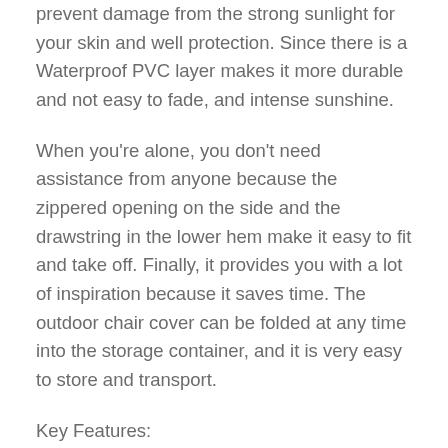prevent damage from the strong sunlight for your skin and well protection. Since there is a Waterproof PVC layer makes it more durable and not easy to fade, and intense sunshine.
When you're alone, you don't need assistance from anyone because the zippered opening on the side and the drawstring in the lower hem make it easy to fit and take off. Finally, it provides you with a lot of inspiration because it saves time. The outdoor chair cover can be folded at any time into the storage container, and it is very easy to store and transport.
Key Features:
Durable with the waterproof PVC layer.
Easy and quick to put on and take off.